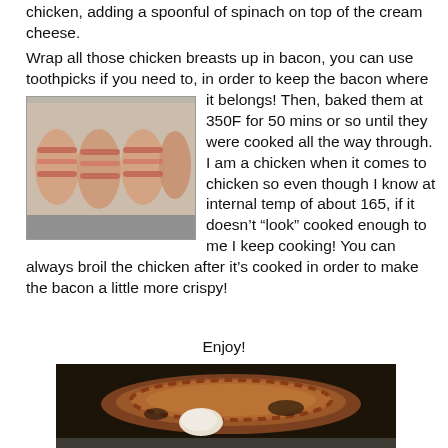chicken, adding a spoonful of spinach on top of the cream cheese.
Wrap all those chicken breasts up in bacon, you can use toothpicks if you need to, in order to keep the bacon where it belongs! Then, baked them at 350F for 50 mins or so until they were cooked all the way through.  I am a chicken when it comes to chicken so even though I know at internal temp of about 165, if it doesn’t “look” cooked enough to me I keep cooking! You can always broil the chicken after it’s cooked in order to make the bacon a little more crispy!
[Figure (photo): Raw bacon-wrapped chicken breasts on a foil-lined baking sheet, uncooked, viewed from above.]
Enjoy!
[Figure (photo): Cooked bacon-wrapped chicken breast on a dark baking sheet with melted cream cheese visible, browned and slightly charred.]